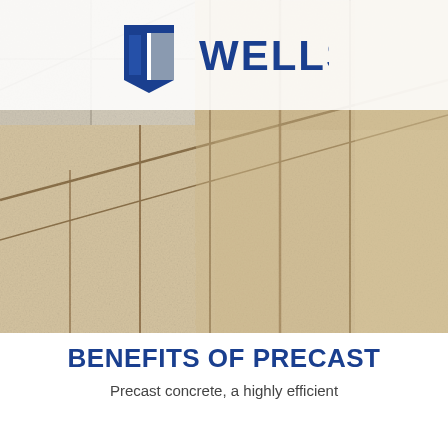[Figure (logo): Wells company logo — blue/grey diamond shield icon with the word WELLS in bold blue capital letters]
[Figure (photo): Close-up photograph of precast concrete wall panels in a warm beige/sand color with vertical and diagonal joints/seams between panels. The upper left corner shows a lighter grey-white concrete texture.]
BENEFITS OF PRECAST
Precast concrete, a highly efficient